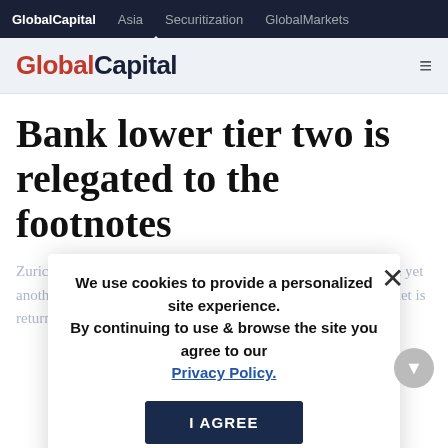GlobalCapital  Asia  Securitization  GlobalMarkets
GlobalCapital
Bank lower tier two is relegated to the footnotes
Zurich Finance priced a callable lower tier two deal last week in yet another encouraging sign the once-moribund subordinated market is returning to health. But while undoubtedly a positive
We use cookies to provide a personalized site experience.
By continuing to use & browse the site you agree to our Privacy Policy.
I AGREE